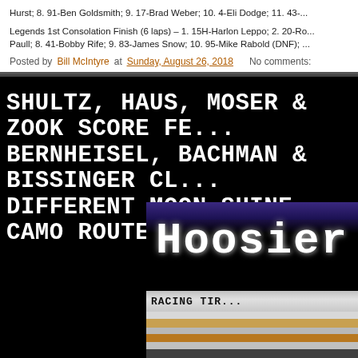Hurst; 8. 91-Ben Goldsmith; 9. 17-Brad Weber; 10. 4-Eli Dodge; 11. 43-...
Legends 1st Consolation Finish (6 laps) – 1. 15H-Harlon Leppo; 2. 20-Ro... Paull; 8. 41-Bobby Rife; 9. 83-James Snow; 10. 95-Mike Rabold (DNF); ...
Posted by Bill McIntyre at Sunday, August 26, 2018   No comments:
SHULTZ, HAUS, MOSER & ZOOK SCORE FE... BERNHEISEL, BACHMAN & BISSINGER CL... DIFFERENT MOON SHINE CAMO ROUTE 3...
[Figure (photo): Close-up photo of a Hoosier Racing Tire showing the brand name 'Hoosier' in large white serif font and 'RACING TIRES' text on a grey/silver label band, with stacked tire sidewalls in black, white, and tan colors visible at the bottom.]